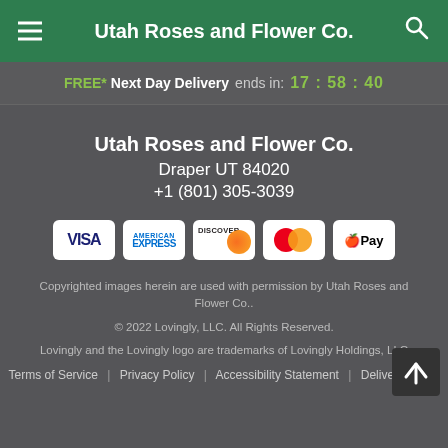Utah Roses and Flower Co.
FREE* Next Day Delivery ends in: 17:58:40
Utah Roses and Flower Co.
Draper UT 84020
+1 (801) 305-3039
[Figure (other): Payment method icons: VISA, American Express, Discover, Mastercard, Apple Pay]
Copyrighted images herein are used with permission by Utah Roses and Flower Co..
© 2022 Lovingly, LLC. All Rights Reserved.
Lovingly and the Lovingly logo are trademarks of Lovingly Holdings, LLC
Terms of Service | Privacy Policy | Accessibility Statement | Delivery Policy